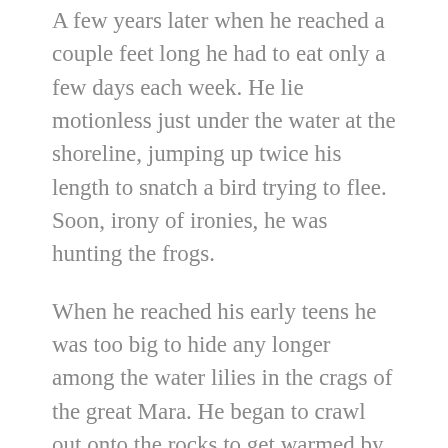A few years later when he reached a couple feet long he had to eat only a few days each week. He lie motionless just under the water at the shoreline, jumping up twice his length to snatch a bird trying to flee. Soon, irony of ironies, he was hunting the frogs.
When he reached his early teens he was too big to hide any longer among the water lilies in the crags of the great Mara. He began to crawl out onto the rocks to get warmed by the sun like the big guys.
It wasn't long ago that he started to sleep more and more. When he woke hungry he waited for a small impala coming to drink and that was only a few times every couple months. But back then he ate his hunger rather than the impala if there were any big